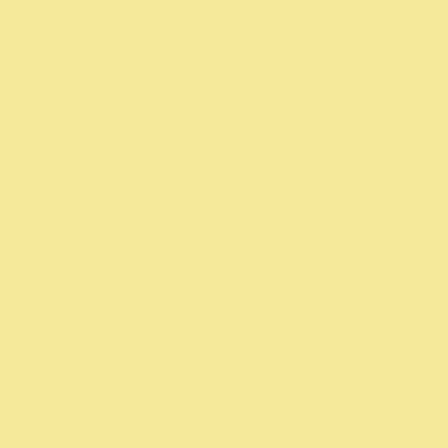Posted by: Curt | Thursday, 18 March 2010 at 03:41 P
Although I don't like articulated LCD camera should be articulated at the l from eye level.
Posted by: ggl | Thursday, 18 March 2010 at 04:42 PM
rotate the back to select V-H? allow I like the grip.

make it light.

I suddenly have an urge to take a wa RB67...
Posted by: Aaron Grier | Thursday, 18 March 2010 at
...of course,upon releasing the shutte recording of the shutter release soun